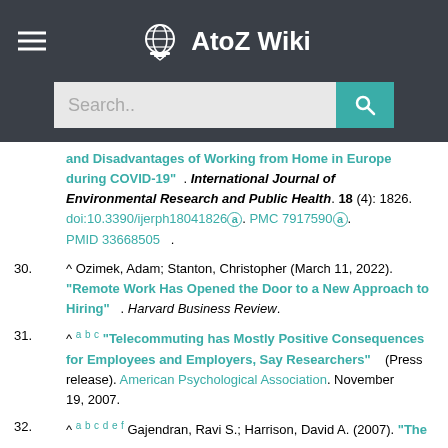AtoZ Wiki
and Disadvantages of Working from Home in Europe during COVID-19" . International Journal of Environmental Research and Public Health. 18 (4): 1826. doi:10.3390/ijerph18041826. PMC 7917590. PMID 33668505 .
30. ^ Ozimek, Adam; Stanton, Christopher (March 11, 2022). "Remote Work Has Opened the Door to a New Approach to Hiring" . Harvard Business Review.
31. ^ a b c "Telecommuting has Mostly Positive Consequences for Employees and Employers, Say Researchers" (Press release). American Psychological Association. November 19, 2007.
32. ^ a b c d e f Gajendran, Ravi S.; Harrison, David A. (2007). "The